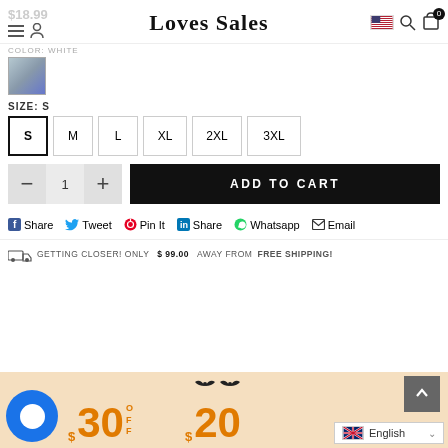$18.99 | Loves Sales | US Flag | Search | Bag | 0
COLOR: WHITE
[Figure (photo): Small product thumbnail image showing a white item]
SIZE: S
S  M  L  XL  2XL  3XL
— 1 + ADD TO CART
Share  Tweet  Pin It  Share  Whatsapp  Email
GETTING CLOSER! ONLY $99.00 AWAY FROM FREE SHIPPING!
[Figure (infographic): Halloween promotional banner showing $30 OFF and $20 OFF deals on peach background with bat decorations, chat bubble widget, scroll-to-top button, and English language selector]